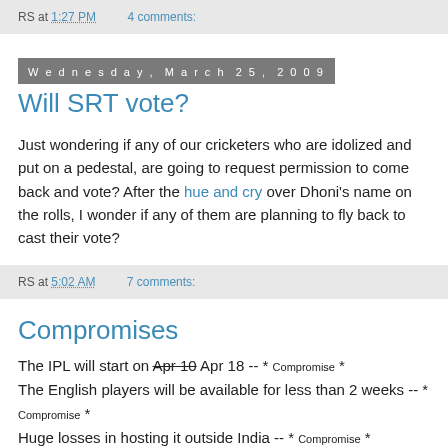RS at 1:27 PM    4 comments:
Wednesday, March 25, 2009
Will SRT vote?
Just wondering if any of our cricketers who are idolized and put on a pedestal, are going to request permission to come back and vote? After the hue and cry over Dhoni's name on the rolls, I wonder if any of them are planning to fly back to cast their vote?
RS at 5:02 AM    7 comments:
Compromises
The IPL will start on Apr 10 Apr 18 -- * Compromise *
The English players will be available for less than 2 weeks -- * Compromise *
Huge losses in hosting it outside India -- * Compromise *